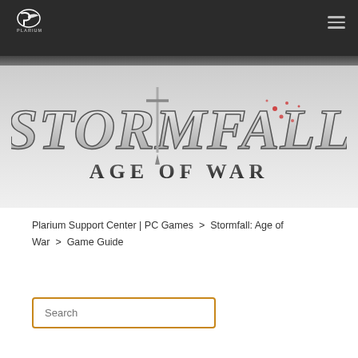Plarium logo and navigation menu
[Figure (logo): Stormfall: Age of War game logo with metallic lettering and sword through the letter T]
Plarium Support Center | PC Games  >  Stormfall: Age of War  >  Game Guide